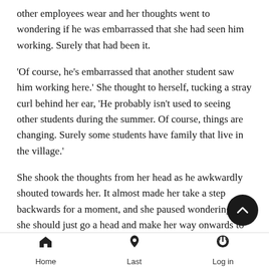other employees wear and her thoughts went to wondering if he was embarrassed that she had seen him working. Surely that had been it.
‘Of course, he’s embarrassed that another student saw him working here.’ She thought to herself, tucking a stray curl behind her ear, ‘He probably isn’t used to seeing other students during the summer. Of course, things are changing. Surely some students have family that live in the village.’
She shook the thoughts from her head as he awkwardly shouted towards her. It almost made her take a step backwards for a moment, and she paused wondering if she should just go a head and make her way onwards to the rest of her summer break.
“Sorry,” she replied, finally finding her voice. “I just saw the ap that Madame Rosmerta makes all her employees wear and assumed you were working. Is that not the case?”
Home   Last   Log in